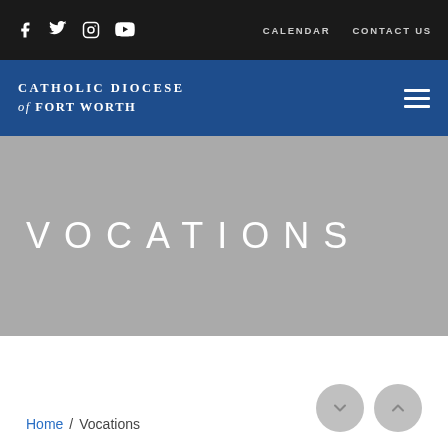Catholic Diocese of Fort Worth — top navigation bar with social icons (Facebook, Twitter, Instagram, YouTube) and links: CALENDAR, CONTACT US
[Figure (logo): Catholic Diocese of Fort Worth logo in white text on blue background with hamburger menu icon]
VOCATIONS
Home / Vocations